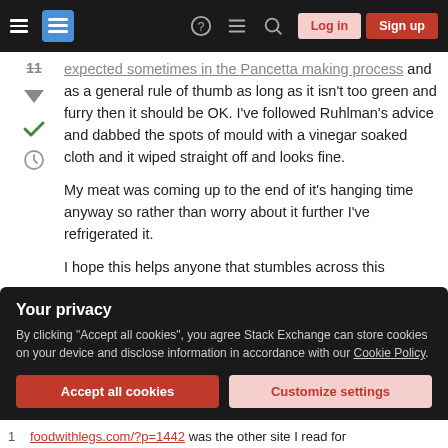Stack Exchange navigation bar with hamburger menu, logo, help, chat, search icons, Log in and Sign up buttons
expected sometimes in the Pancetta making process and as a general rule of thumb as long as it isn't too green and furry then it should be OK. I've followed Ruhlman's advice and dabbed the spots of mould with a vinegar soaked cloth and it wiped straight off and looks fine.
My meat was coming up to the end of it's hanging time anyway so rather than worry about it further I've refrigerated it.
I hope this helps anyone that stumbles across this
Your privacy
By clicking "Accept all cookies", you agree Stack Exchange can store cookies on your device and disclose information in accordance with our Cookie Policy.
Accept all cookies
Customize settings
1  foodwithlegs.com/?p=1442 was the other site I read for